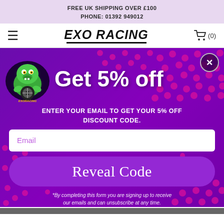FREE UK SHIPPING OVER £100
PHONE: 01392 949012
[Figure (logo): EXO RACING logo with hamburger menu icon on left and shopping cart with (0) on right]
[Figure (infographic): Purple popup modal with pink dot pattern background, dinosaur/dragon EXO RACING mascot logo, large white text 'Get 5% off', subheading 'ENTER YOUR EMAIL TO GET YOUR 5% OFF DISCOUNT CODE.', email input field, 'Reveal Code' button, and fine print disclaimer. Close X button in top right.]